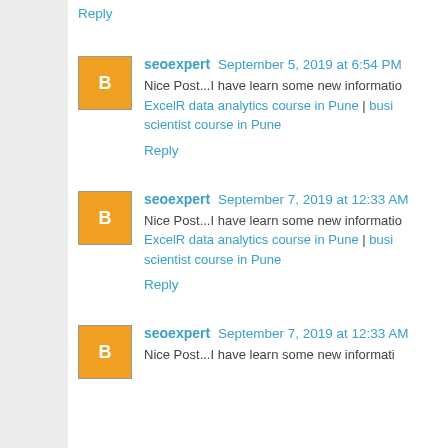Reply
seoexpert September 5, 2019 at 6:54 PM
Nice Post...I have learn some new information. ExcelR data analytics course in Pune | business scientist course in Pune
Reply
seoexpert September 7, 2019 at 12:33 AM
Nice Post...I have learn some new information. ExcelR data analytics course in Pune | business scientist course in Pune
Reply
seoexpert September 7, 2019 at 12:33 AM
Nice Post...I have learn some new information.